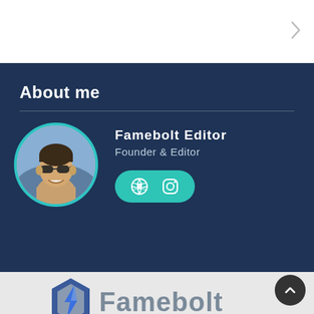[Figure (screenshot): White top bar with chevron arrow on right side]
About me
[Figure (photo): Circular profile photo of a smiling man wearing sunglasses with teal border, alongside name 'Famebolt Editor', role 'Founder & Editor', and social media icons (globe and Instagram) in a teal pill button]
[Figure (logo): Famebolt logo: blue and grey lightning bolt hexagon icon with 'Famebolt' text in grey]